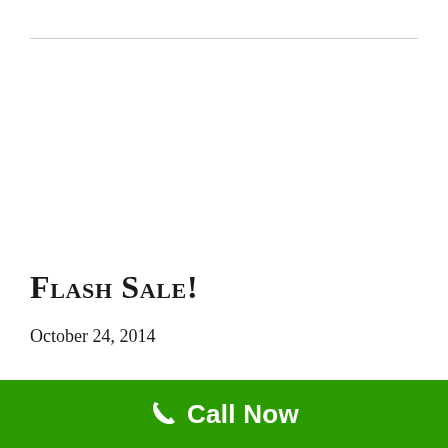Flash Sale!
October 24, 2014
One Day Only! In honor of Acupuncture and
Call Now